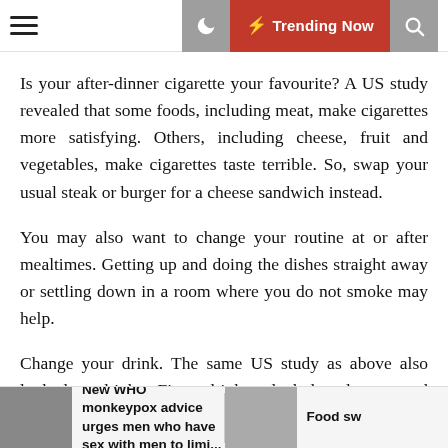Trending Now
Is your after-dinner cigarette your favourite? A US study revealed that some foods, including meat, make cigarettes more satisfying. Others, including cheese, fruit and vegetables, make cigarettes taste terrible. So, swap your usual steak or burger for a cheese sandwich instead.
You may also want to change your routine at or after mealtimes. Getting up and doing the dishes straight away or settling down in a room where you do not smoke may help.
Change your drink. The same US study as above also looked at drinks. Fizzy drinks, alcohol, cola, tea and coffee all make cigarettes taste better. So when you’re out, drink more water and juice. Some people find simply changing their drink (for example, switching from wine
New WHO monkeypox advice urges men who have sex with men to limi... | Food sw